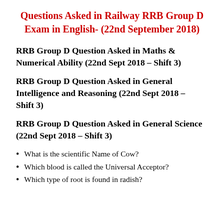Questions Asked in Railway RRB Group D Exam in English- (22nd September 2018)
RRB Group D Question Asked in Maths & Numerical Ability (22nd Sept 2018 – Shift 3)
RRB Group D Question Asked in General Intelligence and Reasoning (22nd Sept 2018 – Shift 3)
RRB Group D Question Asked in General Science (22nd Sept 2018 – Shift 3)
What is the scientific Name of Cow?
Which blood is called the Universal Acceptor?
Which type of root is found in radish?